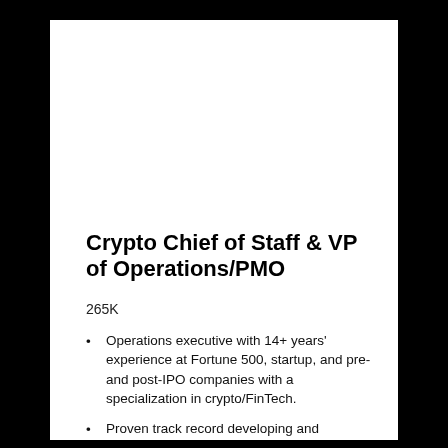Crypto Chief of Staff & VP of Operations/PMO
265K
Operations executive with 14+ years' experience at Fortune 500, startup, and pre- and post-IPO companies with a specialization in crypto/FinTech.
Proven track record developing and